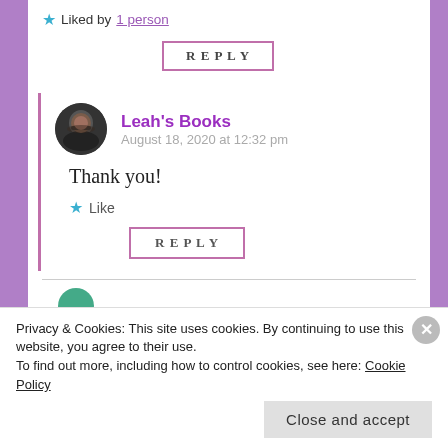Liked by 1 person
REPLY
[Figure (photo): Circular avatar photo of a woman with dark hair and glasses]
Leah's Books
August 18, 2020 at 12:32 pm
Thank you!
Like
REPLY
Privacy & Cookies: This site uses cookies. By continuing to use this website, you agree to their use.
To find out more, including how to control cookies, see here: Cookie Policy
Close and accept